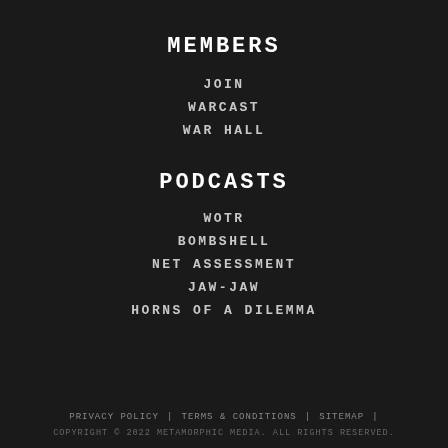MEMBERS
JOIN
WARCAST
WAR HALL
PODCASTS
WOTR
BOMBSHELL
NET ASSESSMENT
JAW-JAW
HORNS OF A DILEMMA
PRIVACY POLICY | TERMS & CONDITIONS | SITEMAP | COPYRIGHT © 2022 METAMORPHIC MEDIA. ALL RIGHTS RESERVED.